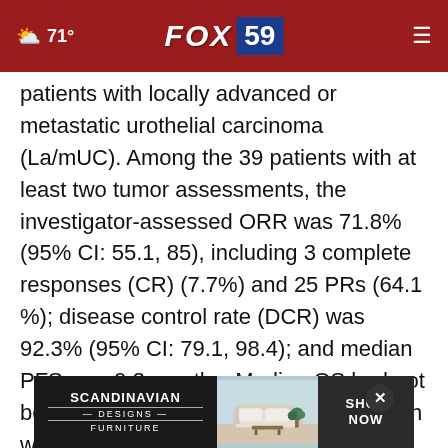71° FOX 59
patients with locally advanced or metastatic urothelial carcinoma (La/mUC). Among the 39 patients with at least two tumor assessments, the investigator-assessed ORR was 71.8% (95% CI: 55.1, 85), including 3 complete responses (CR) (7.7%) and 25 PRs (64.1 %); disease control rate (DCR) was 92.3% (95% CI: 79.1, 98.4); and median PFS was 9.2 months. Median OS had not been reached; toripalimab in combination with RC48, well tolerated, showed promising efficacy in La/... expression
[Figure (other): Scandinavian Designs Furniture advertisement banner with furniture photo and SHOP NOW call to action]